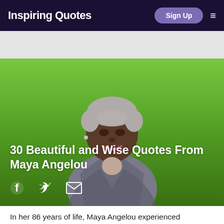Inspiring Quotes
[Figure (photo): Hero card with green gradient background featuring a portrait photo of Maya Angelou, an elderly Black woman with short gray hair, wearing a gray blazer, smiling warmly. The card also contains the article title and social sharing icons.]
30 Beautiful and Wise Quotes From Maya Angelou
In her 86 years of life, Maya Angelou experienced